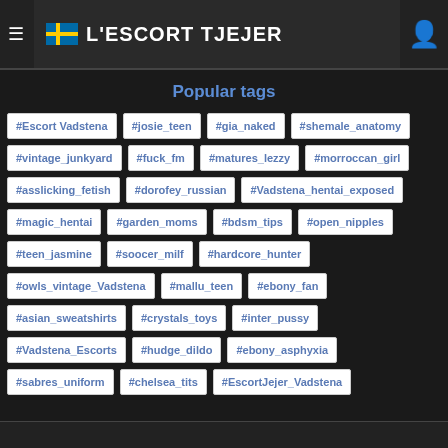L'ESCORT TJEJER
Popular tags
#Escort Vadstena
#josie_teen
#gia_naked
#shemale_anatomy
#vintage_junkyard
#fuck_fm
#matures_lezzy
#morroccan_girl
#asslicking_fetish
#dorofey_russian
#Vadstena_hentai_exposed
#magic_hentai
#garden_moms
#bdsm_tips
#open_nipples
#teen_jasmine
#soocer_milf
#hardcore_hunter
#owls_vintage_Vadstena
#mallu_teen
#ebony_fan
#asian_sweatshirts
#crystals_toys
#inter_pussy
#Vadstena_Escorts
#hudge_dildo
#ebony_asphyxia
#sabres_uniform
#chelsea_tits
#EscortJejer_Vadstena